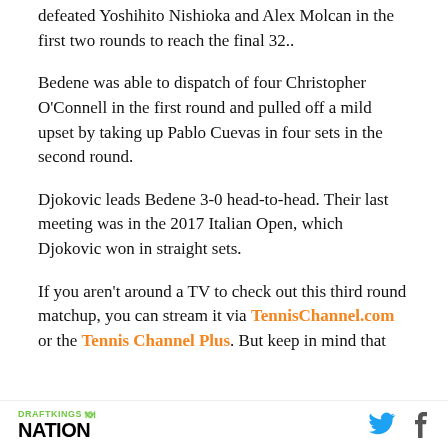defeated Yoshihito Nishioka and Alex Molcan in the first two rounds to reach the final 32..
Bedene was able to dispatch of four Christopher O'Connell in the first round and pulled off a mild upset by taking up Pablo Cuevas in four sets in the second round.
Djokovic leads Bedene 3-0 head-to-head. Their last meeting was in the 2017 Italian Open, which Djokovic won in straight sets.
If you aren't around a TV to check out this third round matchup, you can stream it via TennisChannel.com or the Tennis Channel Plus. But keep in mind that
DRAFTKINGS NATION